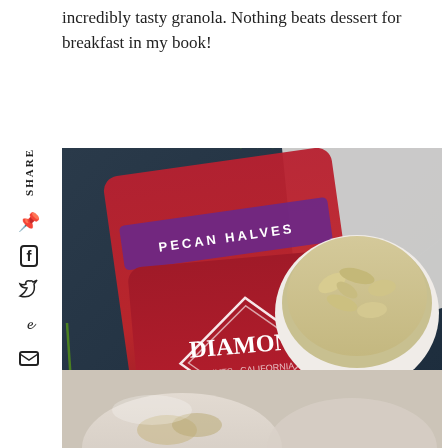incredibly tasty granola. Nothing beats dessert for breakfast in my book!
[Figure (photo): Two red bags of Diamond brand nuts (Pecan Halves and Shelled Walnuts) on a dark surface with carrots, a white bowl of rolled oats, a white bowl of diced crystallized ginger, and measuring spoons]
[Figure (photo): Bottom portion showing bowls of granola with toppings]